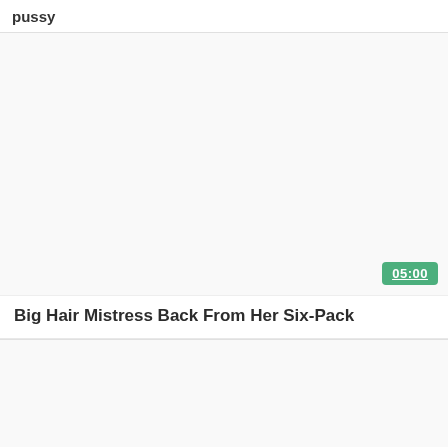pussy
[Figure (photo): Video thumbnail placeholder, white/light gray area with green duration badge showing 05:00]
Big Hair Mistress Back From Her Six-Pack
[Figure (photo): Second video thumbnail placeholder, white/light gray area, partial view]